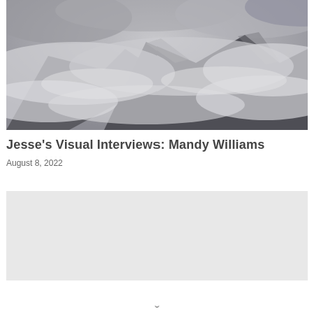[Figure (photo): Black and white photograph of a mountain partially covered in clouds and mist, dramatic moody atmosphere]
Jesse's Visual Interviews: Mandy Williams
August 8, 2022
[Figure (photo): Light gray placeholder image rectangle]